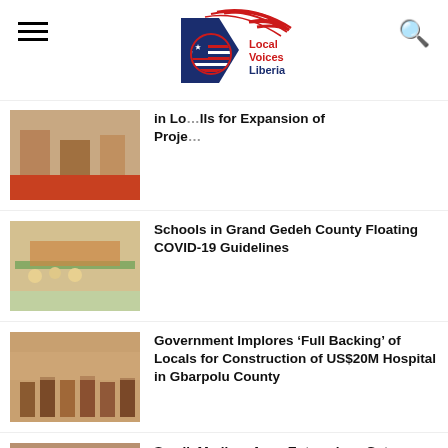[Figure (logo): Local Voices Liberia logo with Liberian flag globe and red/blue swoosh]
in Lo...lls for Expansion of Proje...
Schools in Grand Gedeh County Floating COVID-19 Guidelines
Government Implores 'Full Backing' of Locals for Construction of US$20M Hospital in Gbarpolu County
Small, Medium Agro-Enterprises Get Stimulus Grant amid COVID-19 Economic Strain
Grand Kru County Health Team Receives Medical Supply for Lymphedema Patients